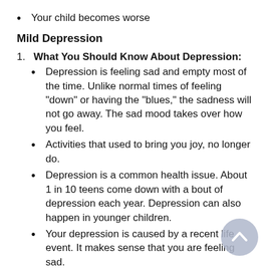Your child becomes worse
Mild Depression
1. What You Should Know About Depression:
Depression is feeling sad and empty most of the time. Unlike normal times of feeling "down" or having the "blues," the sadness will not go away. The sad mood takes over how you feel.
Activities that used to bring you joy, no longer do.
Depression is a common health issue. About 1 in 10 teens come down with a bout of depression each year. Depression can also happen in younger children.
Your depression is caused by a recent life event. It makes sense that you are feeling sad.
Here is some care advice that helps people who are depressed. Share it with your child or teen. Make it happen if they can't start on their own.
2. Talk About Your Feelings
Share how you are feeling with someone. Talk